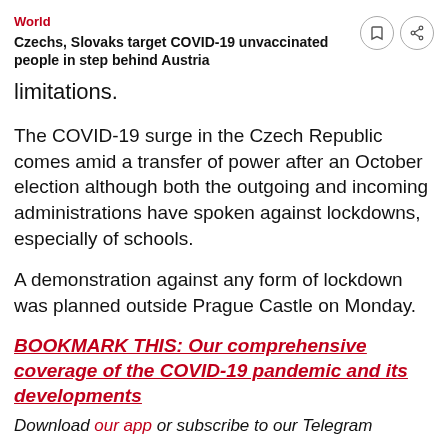World
Czechs, Slovaks target COVID-19 unvaccinated people in step behind Austria
limitations.
The COVID-19 surge in the Czech Republic comes amid a transfer of power after an October election although both the outgoing and incoming administrations have spoken against lockdowns, especially of schools.
A demonstration against any form of lockdown was planned outside Prague Castle on Monday.
BOOKMARK THIS: Our comprehensive coverage of the COVID-19 pandemic and its developments
Download our app or subscribe to our Telegram